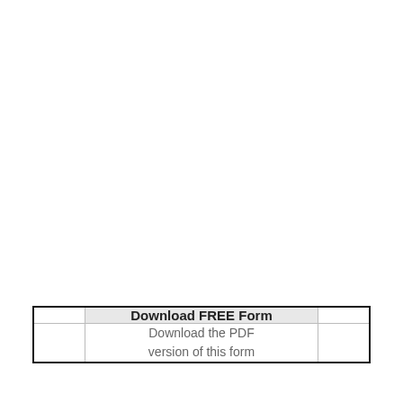| Download FREE Form |
| --- |
| Download the PDF version of this form |